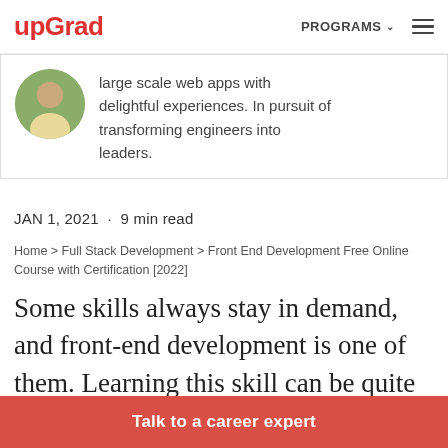upGrad  PROGRAMS  ☰
large scale web apps with delightful experiences. In pursuit of transforming engineers into leaders.
JAN 1, 2021 · 9 min read
Home > Full Stack Development > Front End Development Free Online Course with Certification [2022]
Some skills always stay in demand, and front-end development is one of them. Learning this skill can be quite challenging, and that's why we
Talk to a career expert